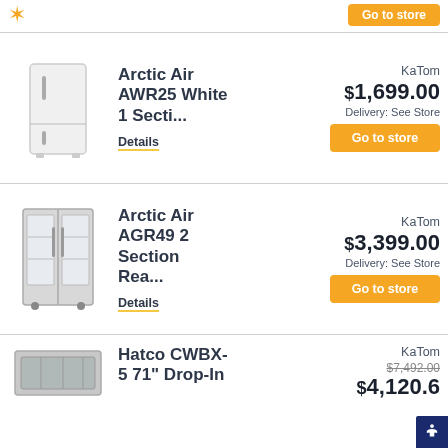[Figure (photo): Orange starburst/badge icon at top left]
[Figure (photo): White single-door upright reach-in refrigerator, Arctic Air AWR25]
Arctic Air AWR25 White 1 Secti...
Details
KaTom
$1,699.00
Delivery: See Store
Go to store
[Figure (photo): Stainless steel two glass-door reach-in refrigerator, Arctic Air AGR49]
Arctic Air AGR49 2 Section Rea...
Details
KaTom
$3,399.00
Delivery: See Store
Go to store
[Figure (photo): Stainless steel drop-in cold pan, Hatco CWBX-5]
Hatco CWBX-5 71" Drop-In
KaTom
$7,492.00 (strikethrough)
$4,120.6...